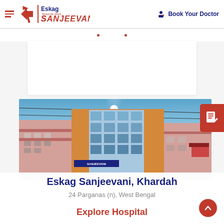Eskag SANJEEVANI — Book Your Doctor
[Figure (photo): Exterior photograph of Eskag Sanjeevani hospital building in Khardah, West Bengal, showing a multi-storey building with glass facade, taken from below against a blue sky with power lines visible]
Eskag Sanjeevani, Khardah
24 Parganas (n), West Bengal
Explore Hospital